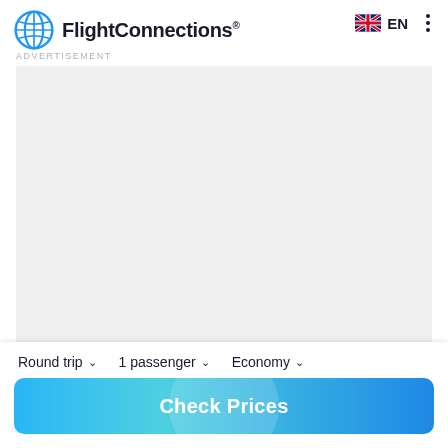FlightConnections® EN ADVERTISEMENT
[Figure (other): Grey advertisement placeholder area]
Round trip  1 passenger  Economy
Check Prices